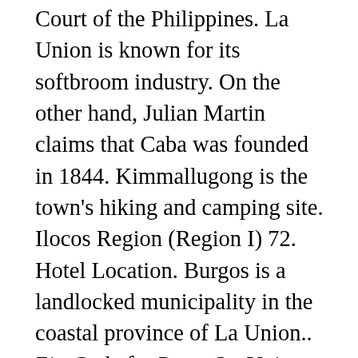Court of the Philippines. La Union is known for its softbroom industry. On the other hand, Julian Martin claims that Caba was founded in 1844. Kimmallugong is the town's hiking and camping site. Ilocos Region (Region I) 72. Hotel Location. Burgos is a landlocked municipality in the coastal province of La Union.. Zip Code for Pugo, La Union – 2508. According to the 2015 census, it has a population of 22,039 people. 2503. 2: Manila CPO – Ermita. ... La Union - 2503: Aritao, Nueva Vizcaya - 3704 ... Caba, La Union - 2502: Cabadbaran, Agusan Del Norte - 8605: Cabagan, Isabela – 3328: Includes all counties and cities in Louisiana. China Telephone area code and zip code (postal code) for china